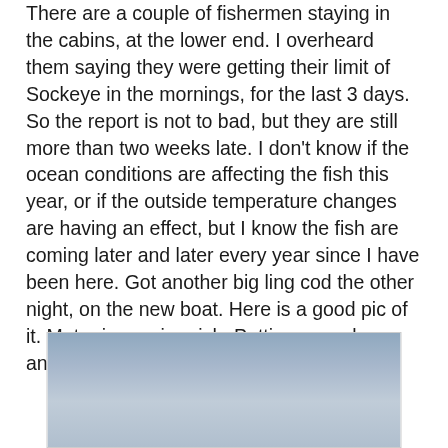There are a couple of fishermen staying in the cabins, at the lower end. I overheard them saying they were getting their limit of Sockeye in the mornings, for the last 3 days. So the report is not to bad, but they are still more than two weeks late. I don't know if the ocean conditions are affecting the fish this year, or if the outside temperature changes are having an effect, but I know the fish are coming later and later every year since I have been here. Got another big ling cod the other night, on the new boat. Here is a good pic of it. Motor is running rich. Putting new plugs, and alittle adjustments, should do the trick.
[Figure (photo): A photograph showing an overcast sky with blue-grey tones, partially cropped at the bottom of the page.]